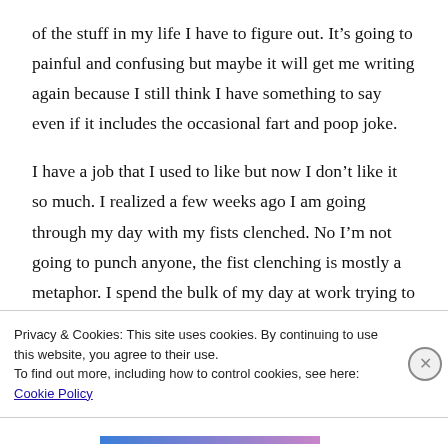of the stuff in my life I have to figure out. It’s going to painful and confusing but maybe it will get me writing again because I still think I have something to say even if it includes the occasional fart and poop joke.
I have a job that I used to like but now I don’t like it so much. I realized a few weeks ago I am going through my day with my fists clenched. No I’m not going to punch anyone, the fist clenching is mostly a metaphor. I spend the bulk of my day at work trying to anticipate the unreasonable scrutiny rather than just doing my
Privacy & Cookies: This site uses cookies. By continuing to use this website, you agree to their use.
To find out more, including how to control cookies, see here: Cookie Policy
Close and accept